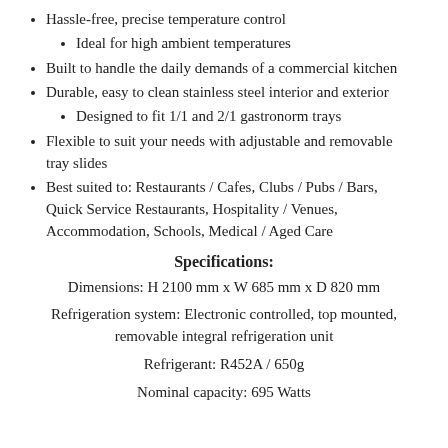Hassle-free, precise temperature control
Ideal for high ambient temperatures
Built to handle the daily demands of a commercial kitchen
Durable, easy to clean stainless steel interior and exterior
Designed to fit 1/1 and 2/1 gastronorm trays
Flexible to suit your needs with adjustable and removable tray slides
Best suited to: Restaurants / Cafes, Clubs / Pubs / Bars, Quick Service Restaurants, Hospitality / Venues, Accommodation, Schools, Medical / Aged Care
Specifications:
Dimensions: H 2100 mm x W 685 mm x D 820 mm
Refrigeration system: Electronic controlled, top mounted, removable integral refrigeration unit
Refrigerant: R452A / 650g
Nominal capacity: 695 Watts